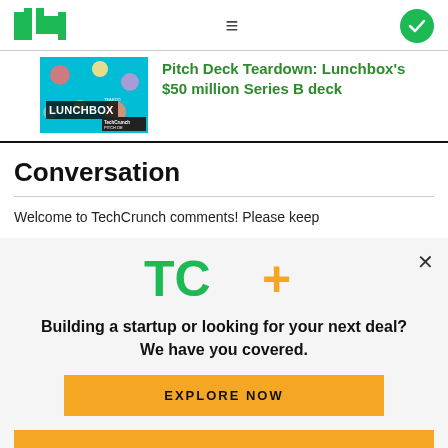TechCrunch
[Figure (photo): Lunchbox TechCrunch Pitch Deck Teardown thumbnail image on teal/cyan background]
Pitch Deck Teardown: Lunchbox's $50 million Series B deck
Conversation
Welcome to TechCrunch comments! Please keep
[Figure (logo): TC+ logo in green with orange plus sign]
Building a startup or looking for your next deal? We have you covered.
EXPLORE NOW